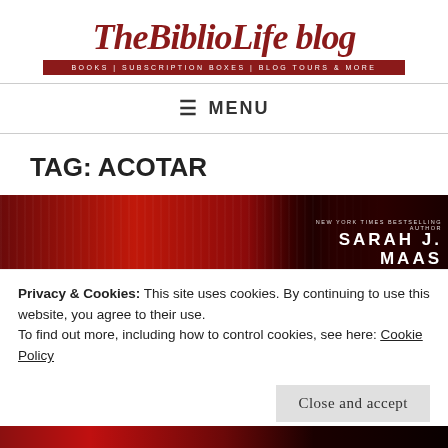TheBiblioLife blog — BOOKS | SUBSCRIPTION BOXES | BLOG TOURS & MORE
≡ MENU
TAG: ACOTAR
[Figure (photo): Book cover image with red background and 'SARAH J. MAAS' author name, partial view]
Privacy & Cookies: This site uses cookies. By continuing to use this website, you agree to their use.
To find out more, including how to control cookies, see here: Cookie Policy
Close and accept
[Figure (photo): Bottom portion of book cover with red background, partial view]